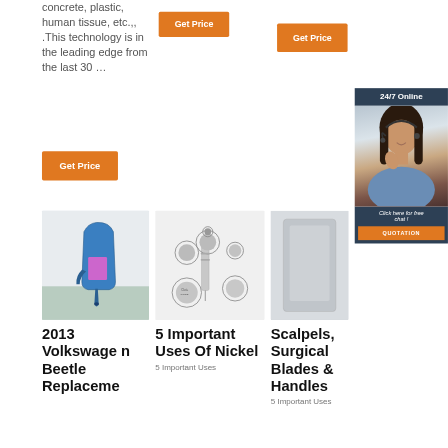concrete, plastic, human tissue, etc.,, .This technology is in the leading edge from the last 30 …
[Figure (other): Orange 'Get Price' button (top center)]
[Figure (other): Orange 'Get Price' button (top right)]
[Figure (other): Orange 'Get Price' button (middle left)]
[Figure (infographic): 24/7 Online chat panel with woman wearing headset, dark blue background, 'Click here for free chat!' text, and orange QUOTATION button]
[Figure (photo): Blue dental handpiece / curing light tool]
[Figure (photo): Dental high speed handpiece with component views]
[Figure (photo): Surgical/medical device product image]
2013 Volkswagen Beetle Replaceme
5 Important Uses Of Nickel
5 Important Uses
Scalpels, Surgical Blades & Handles
5 Important Uses